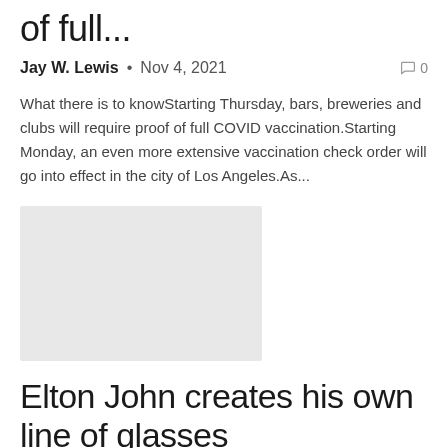of full...
Jay W. Lewis • Nov 4, 2021   💬 0
What there is to knowStarting Thursday, bars, breweries and clubs will require proof of full COVID vaccination.Starting Monday, an even more extensive vaccination check order will go into effect in the city of Los Angeles.As...
[Figure (photo): Gray placeholder image rectangle]
Elton John creates his own line of glasses